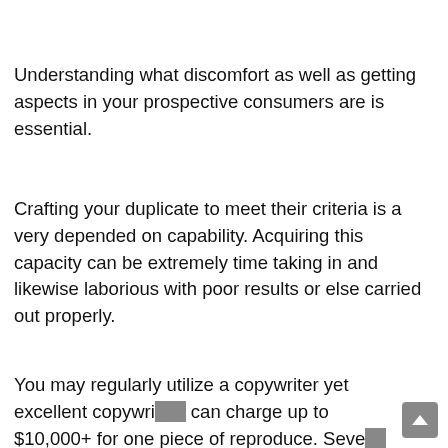Understanding what discomfort as well as getting aspects in your prospective consumers are is essential.
Crafting your duplicate to meet their criteria is a very depended on capability. Acquiring this capacity can be extremely time taking in and likewise laborious with poor results or else carried out properly.
You may regularly utilize a copywriter yet excellent copywriters can charge up to $10,000+ for one piece of reproduce. Several